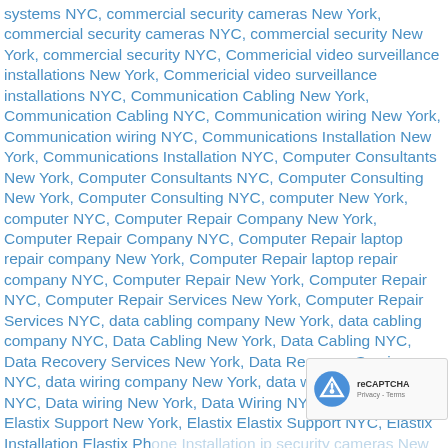systems NYC, commercial security cameras New York, commercial security cameras NYC, commercial security New York, commercial security NYC, Commericial video surveillance installations New York, Commericial video surveillance installations NYC, Communication Cabling New York, Communication Cabling NYC, Communication wiring New York, Communication wiring NYC, Communications Installation New York, Communications Installation NYC, Computer Consultants New York, Computer Consultants NYC, Computer Consulting New York, Computer Consulting NYC, computer New York, computer NYC, Computer Repair Company New York, Computer Repair Company NYC, Computer Repair laptop repair company New York, Computer Repair laptop repair company NYC, Computer Repair New York, Computer Repair NYC, Computer Repair Services New York, Computer Repair Services NYC, data cabling company New York, data cabling company NYC, Data Cabling New York, Data Cabling NYC, Data Recovery Services New York, Data Recovery Services NYC, data wiring company New York, data wiring company NYC, Data wiring New York, Data Wiring NYC, DVR, Elastix Elastix Support New York, Elastix Elastix Support NYC, Elastix Installation Elastix Phone Installation ip security cameras New York, Elastix Installation